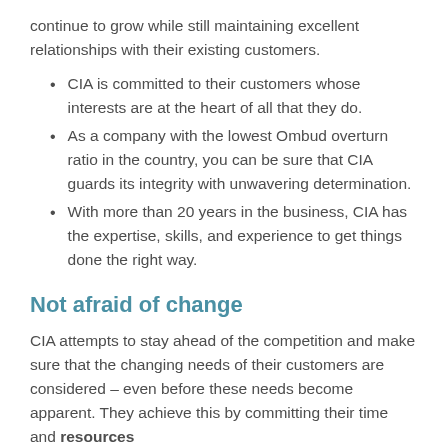continue to grow while still maintaining excellent relationships with their existing customers.
CIA is committed to their customers whose interests are at the heart of all that they do.
As a company with the lowest Ombud overturn ratio in the country, you can be sure that CIA guards its integrity with unwavering determination.
With more than 20 years in the business, CIA has the expertise, skills, and experience to get things done the right way.
Not afraid of change
CIA attempts to stay ahead of the competition and make sure that the changing needs of their customers are considered – even before these needs become apparent. They achieve this by committing their time and resources